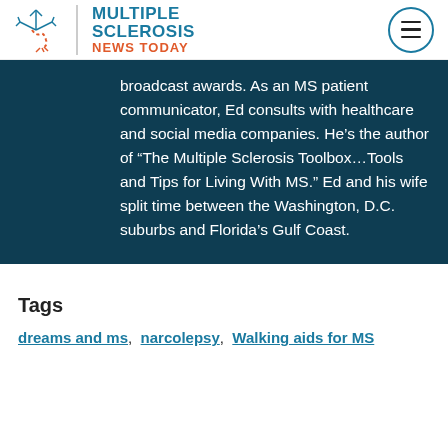Multiple Sclerosis News Today
broadcast awards. As an MS patient communicator, Ed consults with healthcare and social media companies. He’s the author of “The Multiple Sclerosis Toolbox…Tools and Tips for Living With MS.” Ed and his wife split time between the Washington, D.C. suburbs and Florida’s Gulf Coast.
Tags
dreams and ms,  narcolepsy,  Walking aids for MS